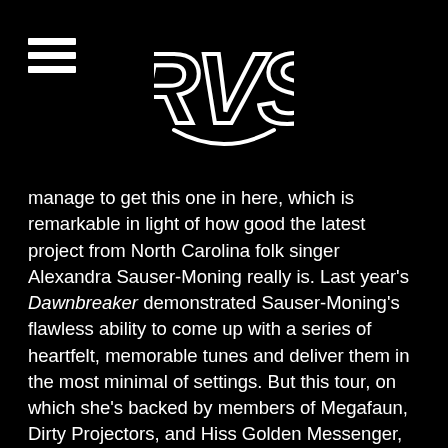RVS logo and navigation
manage to get this one in here, which is remarkable in light of how good the latest project from North Carolina folk singer Alexandra Sauser-Moning really is. Last year's Dawnbreaker demonstrated Sauser-Moning's flawless ability to come up with a series of heartfelt, memorable tunes and deliver them in the most minimal of settings. But this tour, on which she's backed by members of Megafaun, Dirty Projectors, and Hiss Golden Messenger, will present her with a more fleshed-out but just as brilliant musical canvas. They'll come to town in the company of the Dead Tongues, a folk project from the mind of sometime Hiss Golden Messenger sideman Ryan Gustafson. The fact that the two picked Richmond as the place to start their current American tour just proves the point I was making a paragraph ago — where live music in VA is concerned, Richmond is what it's all about.